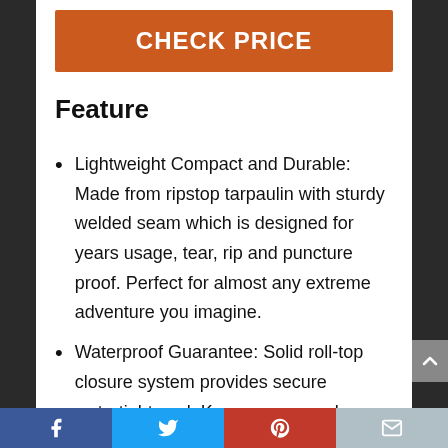CHECK PRICE
Feature
Lightweight Compact and Durable: Made from ripstop tarpaulin with sturdy welded seam which is designed for years usage, tear, rip and puncture proof. Perfect for almost any extreme adventure you imagine.
Waterproof Guarantee: Solid roll-top closure system provides secure watertight seal. Keep your gear dry
Facebook | Twitter | Pinterest | Email